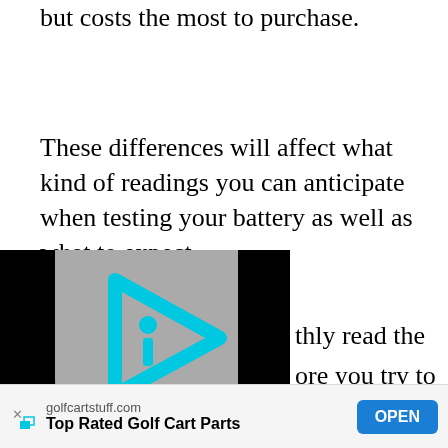but costs the most to purchase.
These differences will affect what kind of readings you can anticipate when testing your battery as well as what to expect
[Figure (screenshot): Video player overlay with a cyan/blue play button icon on a grey and black background, showing an 'i' information logo inside a triangular play button shape.]
thly read the ore you try to verif
golfcartstuff.com Top Rated Golf Cart Parts OPEN